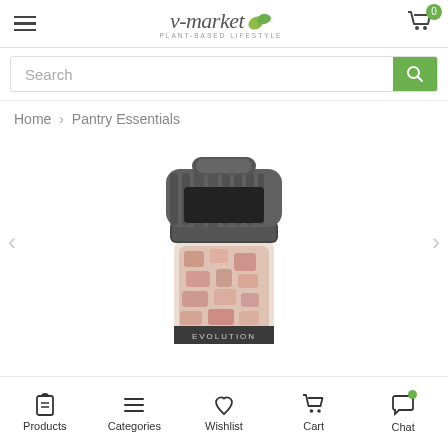v-market PLANT-BASED LIFESTYLE
Search
Home > Pantry Essentials
[Figure (photo): A salt or spice grinder with a dark metal grinding mechanism on top and a glass jar filled with pink himalayan salt crystals, labeled EVOLUTION at the bottom. Product shown on white background.]
Products  Categories  Wishlist  Cart  Chat